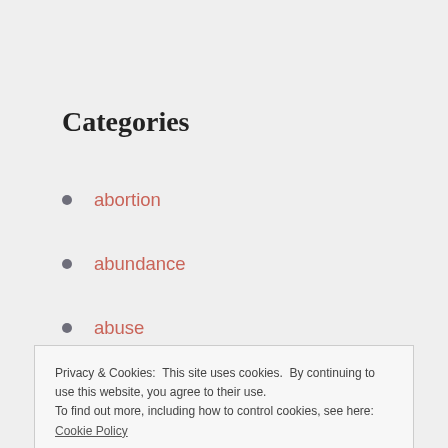Categories
abortion
abundance
abuse
accomplishments
active listening
adjectives
adventure
affirmations
Privacy & Cookies: This site uses cookies. By continuing to use this website, you agree to their use.
To find out more, including how to control cookies, see here: Cookie Policy
Close and accept